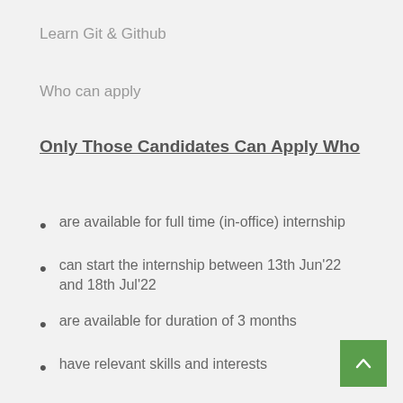Learn Git & Github
Who can apply
Only Those Candidates Can Apply Who
are available for full time (in-office) internship
can start the internship between 13th Jun'22 and 18th Jul'22
are available for duration of 3 months
have relevant skills and interests